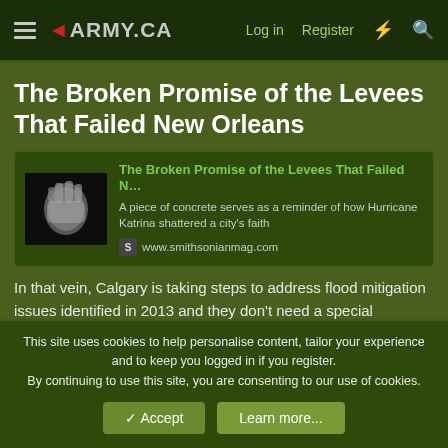◄ARMY.CA  Log in  Register
The Broken Promise of the Levees That Failed New Orleans
[Figure (screenshot): Link card preview for Smithsonian Magazine article 'The Broken Promise of the Levees That Failed N...' with thumbnail image of piece of concrete, description text and www.smithsonianmag.com source URL]
In that vein, Calgary is taking steps to address flood mitigation issues identified in 2013 and they don't need a special 'Emergency Preparedness Department' to do it, mainly because it's a whole of government effort - as it should be:
This site uses cookies to help personalise content, tailor your experience and to keep you logged in if you register.
By continuing to use this site, you are consenting to our use of cookies.